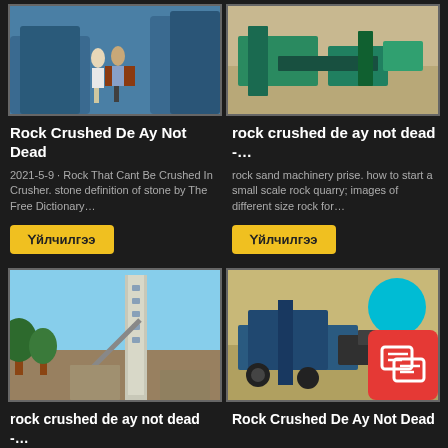[Figure (photo): Two people standing near large blue industrial machinery/equipment in a factory]
[Figure (photo): Outdoor rock crushing/quarry equipment with blue machinery on sandy terrain]
Rock Crushed De Ay Not Dead
rock crushed de ay not dead -…
2021-5-9 · Rock That Cant Be Crushed In Crusher. stone definition of stone by The Free Dictionary…
rock sand machinery prise. how to start a small scale rock quarry; images of different size rock for…
Үйлчилгээ
Үйлчилгээ
[Figure (photo): Tall industrial tower/cement plant structure against blue sky with trees]
[Figure (photo): Rock crushing mobile equipment outdoors with cyan circle overlay and red chat icon]
rock crushed de ay not dead -…
Rock Crushed De Ay Not Dead